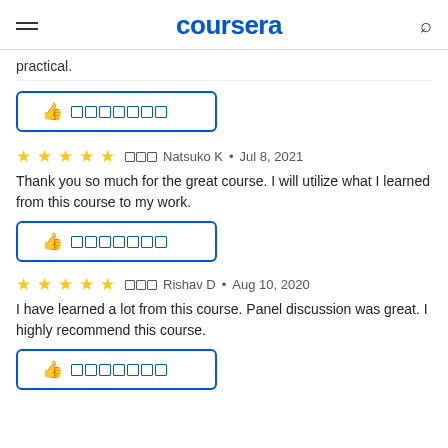coursera
practical.
[Figure (other): Helpful button with thumbs up icon and placeholder squares]
★★★★★  ▪▪▪ Natsuko K • Jul 8, 2021
Thank you so much for the great course. I will utilize what I learned from this course to my work.
[Figure (other): Helpful button with thumbs up icon and placeholder squares]
★★★★★  ▪▪▪ Rishav D • Aug 10, 2020
I have learned a lot from this course. Panel discussion was great. I highly recommend this course.
[Figure (other): Helpful button with thumbs up icon and placeholder squares]